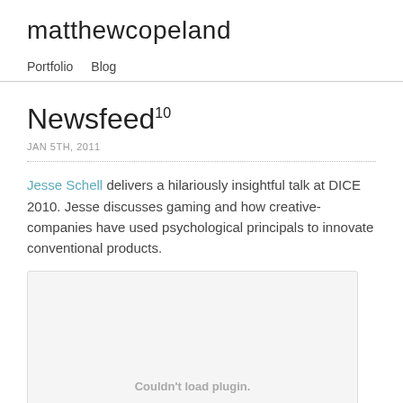matthewcopeland
Portfolio   Blog
Newsfeed10
JAN 5TH, 2011
Jesse Schell delivers a hilariously insightful talk at DICE 2010. Jesse discusses gaming and how creative-companies have used psychological principals to innovate conventional products.
[Figure (other): Embedded plugin area showing 'Couldn't load plugin.' message on a light grey background]